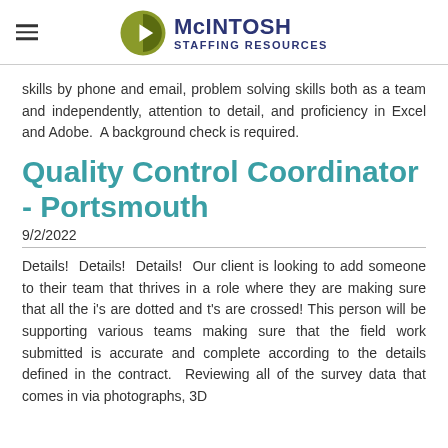McINTOSH STAFFING RESOURCES
skills by phone and email, problem solving skills both as a team and independently, attention to detail, and proficiency in Excel and Adobe.  A background check is required.
Quality Control Coordinator - Portsmouth
9/2/2022
Details!  Details!  Details!  Our client is looking to add someone to their team that thrives in a role where they are making sure that all the i's are dotted and t's are crossed!  This person will be supporting various teams making sure that the field work submitted is accurate and complete according to the details defined in the contract.  Reviewing all of the survey data that comes in via photographs, 3D